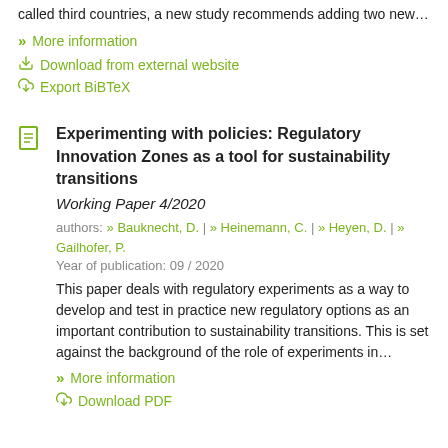called third countries, a new study recommends adding two new…
» More information
Download from external website
Export BiBTeX
Experimenting with policies: Regulatory Innovation Zones as a tool for sustainability transitions
Working Paper 4/2020
authors: » Bauknecht, D. | » Heinemann, C. | » Heyen, D. | » Gailhofer, P.
Year of publication: 09 / 2020
This paper deals with regulatory experiments as a way to develop and test in practice new regulatory options as an important contribution to sustainability transitions. This is set against the background of the role of experiments in…
» More information
Download PDF